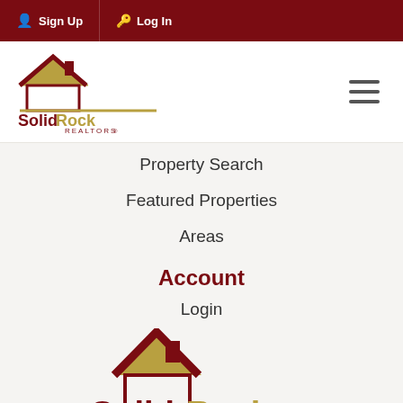Sign Up  Log In
[Figure (logo): Solid Rock Realtors logo with house roof icon in dark red and gold]
Property Search
Featured Properties
Areas
Account
Login
[Figure (logo): Solid Rock Realtors large logo repeated at bottom of page, partially cropped]